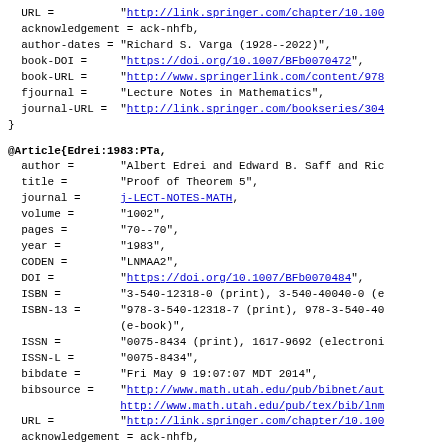BibTeX code snippet showing URL, acknowledgement, author-dates, book-DOI, book-URL, fjournal, journal-URL fields, and closing brace, followed by @Article{Edrei:1983:PTa, with fields author, title, journal, volume, pages, year, CODEN, DOI, ISBN, ISBN-13, ISSN, ISSN-L, bibdate, bibsource, URL, acknowledgement, author-dates, book-DOI